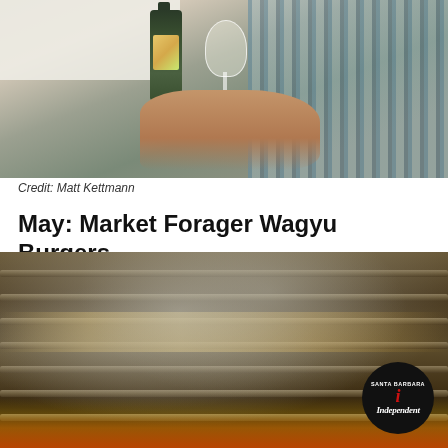[Figure (photo): A person holding a wine bottle with a colorful label and a wine glass with white wine, wearing a plaid blue/grey shirt.]
Credit: Matt Kettmann
May: Market Forager Wagyu Burgers
[Figure (photo): A close-up of a grill with smoke rising and flames visible at the bottom, with a Santa Barbara Independent logo badge in the lower right corner.]